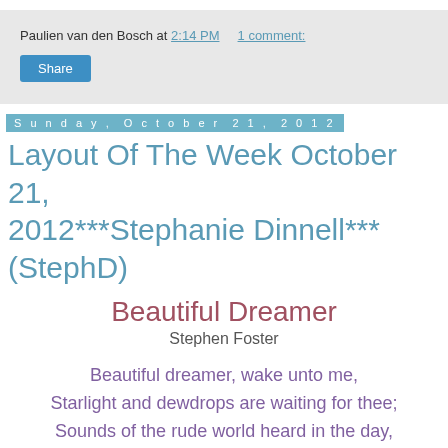Paulien van den Bosch at 2:14 PM    1 comment:
Share
Sunday, October 21, 2012
Layout Of The Week October 21, 2012***Stephanie Dinnell***(StephD)
Beautiful Dreamer
Stephen Foster
Beautiful dreamer, wake unto me,
Starlight and dewdrops are waiting for thee;
Sounds of the rude world heard in the day,
Lull'd by the moonlight have all pass'd away!